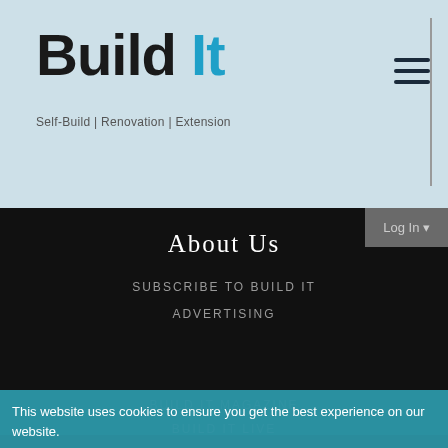[Figure (logo): Build It magazine logo with tagline 'Self-Build | Renovation | Extension' and magazine cover image]
About Us
SUBSCRIBE TO BUILD IT
ADVERTISING
BUILD IT MAGAZINE
BUILD IT LIVE
BUILD IT AWARDS
BUILD IT EDUCATION HOUSE
This website uses cookies to ensure you get the best experience on our website.
Learn more
Got it!
Newsletter Sign up